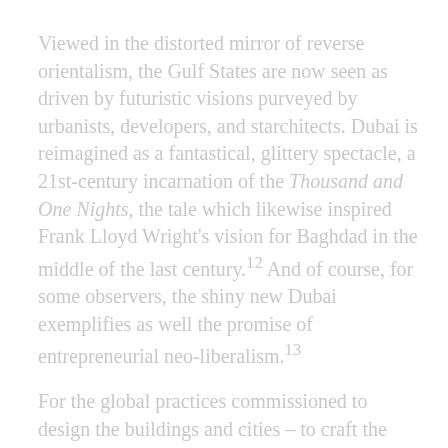Viewed in the distorted mirror of reverse orientalism, the Gulf States are now seen as driven by futuristic visions purveyed by urbanists, developers, and starchitects. Dubai is reimagined as a fantastical, glittery spectacle, a 21st-century incarnation of the Thousand and One Nights, the tale which likewise inspired Frank Lloyd Wright's vision for Baghdad in the middle of the last century.12 And of course, for some observers, the shiny new Dubai exemplifies as well the promise of entrepreneurial neo-liberalism.13
For the global practices commissioned to design the buildings and cities – to craft the symbols – of the new Arab city, these various narratives are potent; certainly more inspiring than the everyday realities of the vast desert and crumbling old towns, the banal malls and relentlessly generic housing in the neighborhoods on the